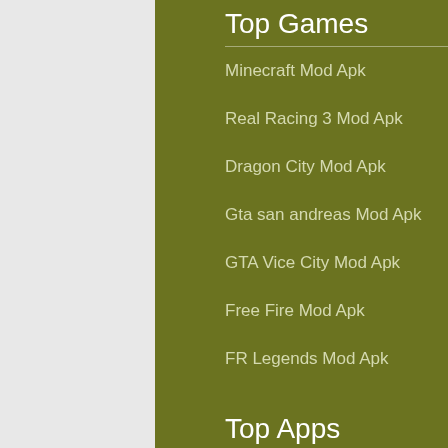Top Games
Minecraft Mod Apk
Real Racing 3 Mod Apk
Dragon City Mod Apk
Gta san andreas Mod Apk
GTA Vice City Mod Apk
Free Fire Mod Apk
FR Legends Mod Apk
Top Apps
Lucky Patcher Apk
Spotify Premium Apk